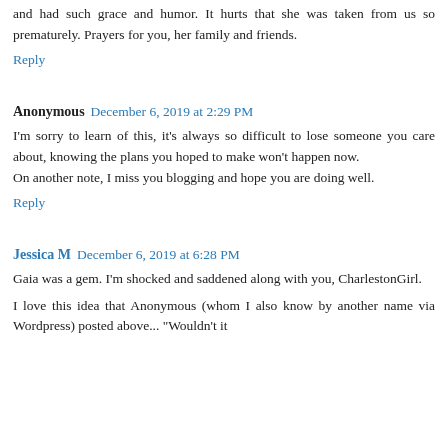and had such grace and humor. It hurts that she was taken from us so prematurely. Prayers for you, her family and friends.
Reply
Anonymous  December 6, 2019 at 2:29 PM
I'm sorry to learn of this, it's always so difficult to lose someone you care about, knowing the plans you hoped to make won't happen now.
On another note, I miss you blogging and hope you are doing well.
Reply
Jessica M  December 6, 2019 at 6:28 PM
Gaia was a gem. I'm shocked and saddened along with you, CharlestonGirl.
I love this idea that Anonymous (whom I also know by another name via Wordpress) posted above... "Wouldn't it